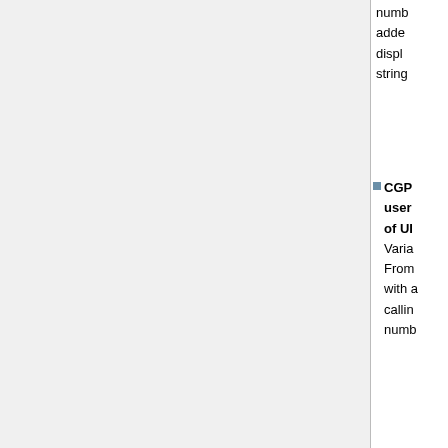numb added displ string
CGP user of UI Varia From with a callin numb
Identity Header when Sending INVITE Controls identity h (P-Prefe Identity, Asserted Identity a Remote- Id) sent outgoing
CGP user